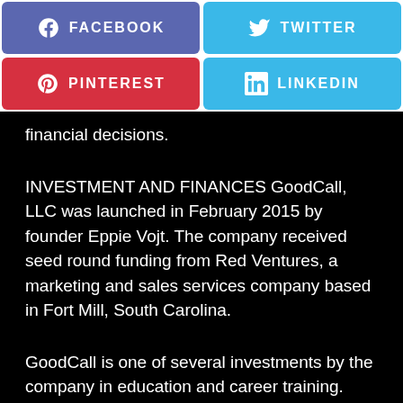[Figure (infographic): Social media share buttons: Facebook (purple), Twitter (blue), Pinterest (red), LinkedIn (blue)]
financial decisions.
INVESTMENT AND FINANCES GoodCall, LLC was launched in February 2015 by founder Eppie Vojt. The company received seed round funding from Red Ventures, a marketing and sales services company based in Fort Mill, South Carolina.
GoodCall is one of several investments by the company in education and career training. Others include CourseHorse.